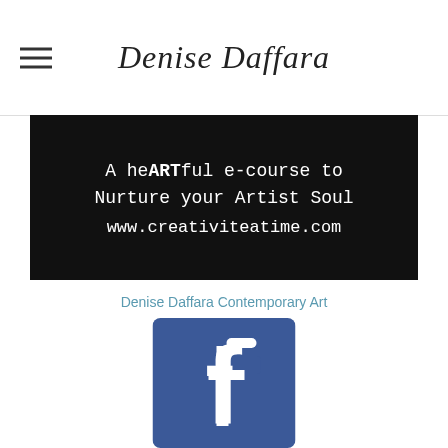Denise Daffara
[Figure (photo): Black banner image with white typewriter-font text reading: A heARTful e-course to Nurture your Artist Soul www.creativiteatime.com]
Denise Daffara Contemporary Art
[Figure (logo): Facebook logo icon — blue square background with white 'f' letter mark]